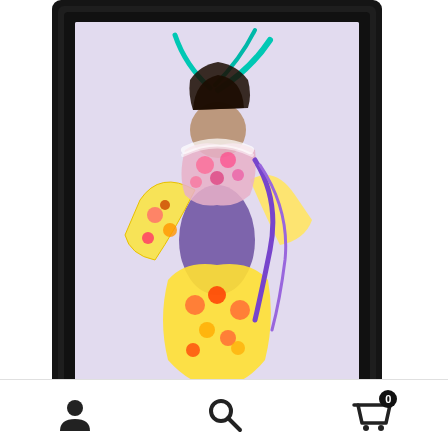[Figure (photo): A framed cross stitch embroidery artwork in a black ornate frame showing a colorful female figure with floral kimono garments, teal ribbons, and a lavender background, displayed on a white surface]
Mirabilia Designs, Cross Stitch Pattern, MD180 Blossom
Navigation bar with account icon, search icon, and cart icon showing 0 items